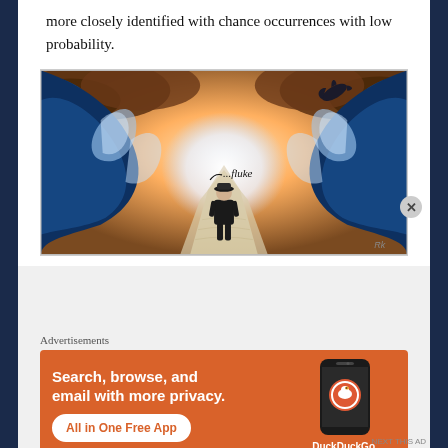more closely identified with chance occurrences with low probability.
[Figure (illustration): Surreal illustration of a person in a naval hat walking through a parted sea (two towering waves on either side), with a dolphin visible in the upper right. Text '...fluke' appears in the middle of the image. Artist initials visible at bottom right.]
Advertisements
[Figure (screenshot): DuckDuckGo advertisement banner with orange background. Text reads 'Search, browse, and email with more privacy. All in One Free App'. Shows a smartphone with DuckDuckGo app and logo.]